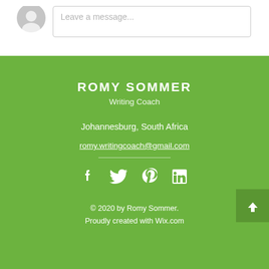[Figure (illustration): Grey circular avatar placeholder icon with a person silhouette]
Leave a message...
ROMY SOMMER
Writing Coach
Johannesburg, South Africa
romy.writingcoach@gmail.com
[Figure (illustration): Social media icons: Facebook, Twitter, Pinterest, LinkedIn]
© 2020 by Romy Sommer. Proudly created with Wix.com